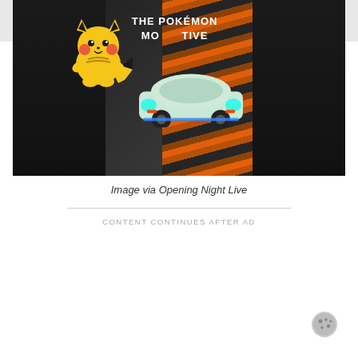[Figure (photo): Two people on a dark stage with orange streaked backdrop. A MINI Cooper electric car with teal/cyan lighting is displayed in the center. A Pikachu Pokémon graphic is visible on the left side. A sign reads 'THE POKÉMON MOTIVE' in the background.]
Image via Opening Night Live
CONTENT CONTINUES AFTER AD